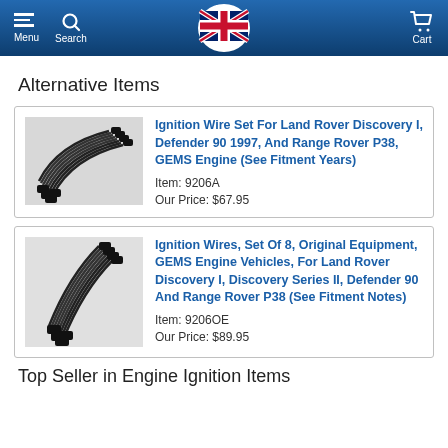Menu | Search | Atlantic British | Cart
Alternative Items
[Figure (photo): Ignition wire set product photo - black spark plug wires with connectors]
Ignition Wire Set For Land Rover Discovery I, Defender 90 1997, And Range Rover P38, GEMS Engine (See Fitment Years)
Item: 9206A
Our Price: $67.95
[Figure (photo): Ignition wires set of 8 product photo - black spark plug wires with connectors]
Ignition Wires, Set Of 8, Original Equipment, GEMS Engine Vehicles, For Land Rover Discovery I, Discovery Series II, Defender 90 And Range Rover P38 (See Fitment Notes)
Item: 9206OE
Our Price: $89.95
Top Seller in Engine Ignition Items